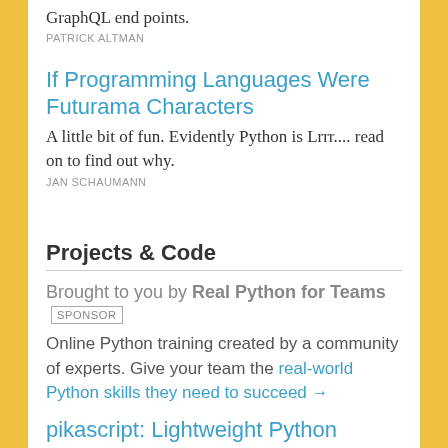GraphQL end points.
PATRICK ALTMAN
If Programming Languages Were Futurama Characters
A little bit of fun. Evidently Python is Lrrr.... read on to find out why.
JAN SCHAUMANN
Projects & Code
Brought to you by Real Python for Teams SPONSOR
Online Python training created by a community of experts. Give your team the real-world Python skills they need to succeed →
pikascript: Lightweight Python Engine That Fits in 32KB Flash